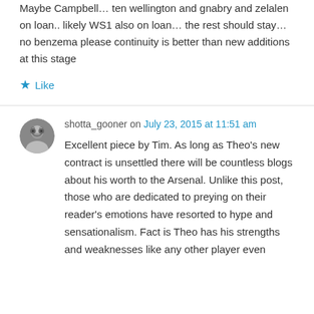Maybe Campbell… ten wellington and gnabry and zelalen on loan.. likely WS1 also on loan… the rest should stay… no benzema please continuity is better than new additions at this stage
★ Like
shotta_gooner on July 23, 2015 at 11:51 am
Excellent piece by Tim. As long as Theo's new contract is unsettled there will be countless blogs about his worth to the Arsenal. Unlike this post, those who are dedicated to preying on their reader's emotions have resorted to hype and sensationalism. Fact is Theo has his strengths and weaknesses like any other player even